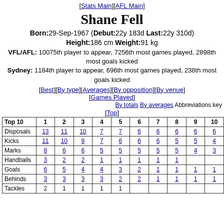[Stats Main][AFL Main]
Shane Fell
Born:29-Sep-1967 (Debut:22y 183d Last:22y 310d)
Height:186 cm Weight:91 kg
VFL/AFL: 10075th player to appear, 7256th most games played, 2898th most goals kicked Sydney: 1184th player to appear, 696th most games played, 238th most goals kicked
[Best][By type][Averages][By opposition][By venue] [Games Played]
By totals By averages Abbreviations key
[Top]
| Top 10 | 1 | 2 | 3 | 4 | 5 | 6 | 7 | 8 | 9 | 10 |
| --- | --- | --- | --- | --- | --- | --- | --- | --- | --- | --- |
| Disposals | 13 | 11 | 10 | 7 | 7 | 6 | 6 | 6 | 6 | 6 |
| Kicks | 11 | 10 | 9 | 7 | 6 | 6 | 6 | 5 | 5 | 4 |
| Marks | 8 | 6 | 6 | 5 | 5 | 5 | 5 | 5 | 4 | 3 |
| Handballs | 3 | 2 | 2 | 1 | 1 | 1 | 1 | 1 |  |  |
| Goals | 6 | 5 | 4 | 4 | 3 | 2 | 1 | 1 | 1 | 1 |
| Behinds | 3 | 3 | 3 | 3 | 2 | 2 | 1 | 1 | 1 | 1 |
| Tackles | 2 | 1 | 1 | 1 | 1 |  |  |  |  |  |